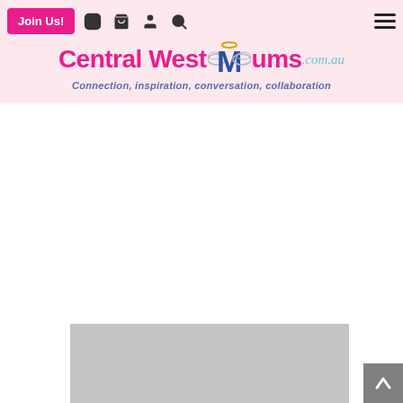Central West Mums .com.au — Connection, inspiration, conversation, collaboration
[Figure (logo): Central West Mums logo with angel figure above the M, pink bold text 'Central West Mums', cursive '.com.au', and tagline 'Connection, inspiration, conversation, collaboration' in italic blue]
[Figure (photo): Gray placeholder rectangle representing a partially visible image at the bottom of the page]
[Figure (other): Dark gray back-to-top button with upward-pointing chevron arrow in bottom-right corner]